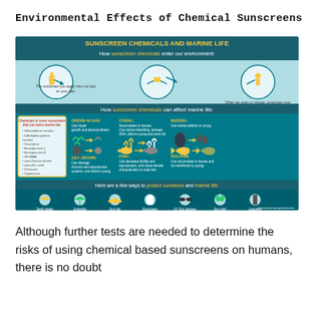Environmental Effects of Chemical Sunscreens
[Figure (infographic): NOAA infographic titled 'SUNSCREEN CHEMICALS AND MARINE LIFE' explaining how sunscreen chemicals enter our environment and affect marine life including green algae, coral, mussels, sea urchins, fish, and dolphins. Also shows ways to protect ourselves and marine life: seek shade, umbrella, sun hat, sunscreen, UV sun glasses, sun shirt, leggings.]
Although further tests are needed to determine the risks of using chemical based sunscreens on humans, there is no doubt